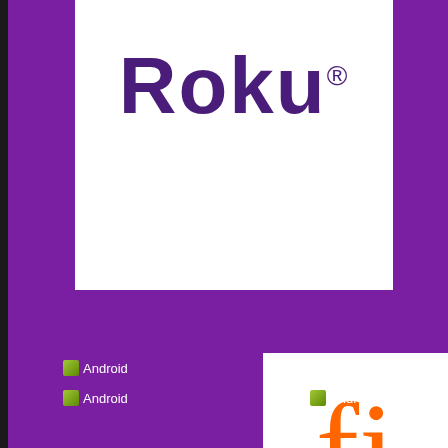[Figure (logo): Roku logo on white background, partially cropped. Dark purple bold 'Roku' text with trademark symbol on white rectangle.]
[Figure (logo): Android icon placeholder label showing 'Android' text with small icon, on purple background.]
[Figure (logo): Amazon Fire logo partially visible on white background at right edge. Orange letter 'fi' with Amazon arrow below.]
[Figure (logo): Android icon placeholder label at bottom left.]
[Figure (logo): Android icon placeholder label at bottom right.]